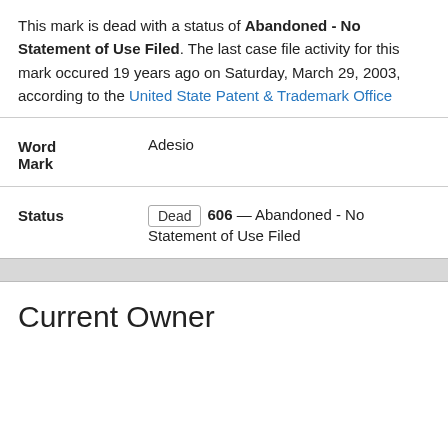This mark is dead with a status of Abandoned - No Statement of Use Filed. The last case file activity for this mark occured 19 years ago on Saturday, March 29, 2003, according to the United State Patent & Trademark Office
| Field | Value |
| --- | --- |
| Word Mark | Adesio |
| Status | Dead  606 — Abandoned - No Statement of Use Filed |
Current Owner